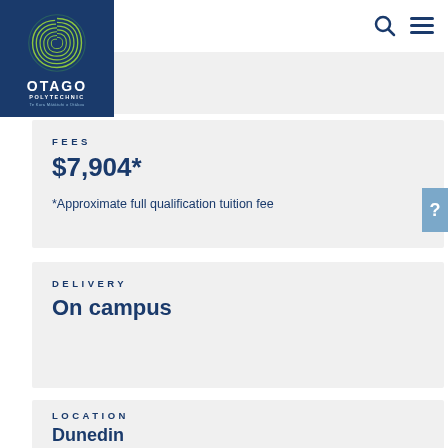[Figure (logo): Otago Polytechnic logo — blue background with green spiral circle, white text OTAGO POLYTECHNIC, Te Kura Mātātuhi o Ōtākou]
FEES
$7,904*
*Approximate full qualification tuition fee
DELIVERY
On campus
LOCATION
Dunedin